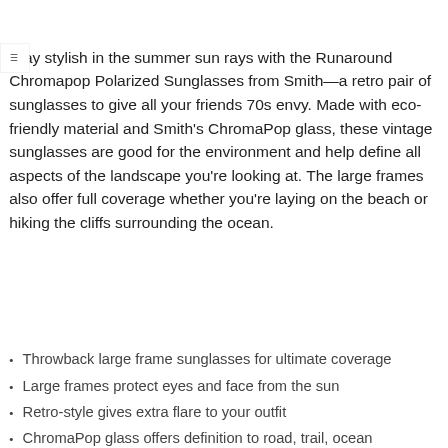Stay stylish in the summer sun rays with the Runaround Chromapop Polarized Sunglasses from Smith—a retro pair of sunglasses to give all your friends 70s envy. Made with eco-friendly material and Smith's ChromaPop glass, these vintage sunglasses are good for the environment and help define all aspects of the landscape you're looking at. The large frames also offer full coverage whether you're laying on the beach or hiking the cliffs surrounding the ocean.
Throwback large frame sunglasses for ultimate coverage
Large frames protect eyes and face from the sun
Retro-style gives extra flare to your outfit
ChromaPop glass offers definition to road, trail, ocean
Item #SMI00K7
Apply now
Oakley Reverie Prizm Polarized Sunglasses -